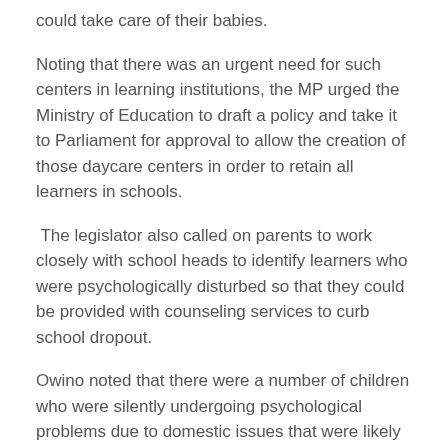could take care of their babies.
Noting that there was an urgent need for such centers in learning institutions, the MP urged the Ministry of Education to draft a policy and take it to Parliament for approval to allow the creation of those daycare centers in order to retain all learners in schools.
The legislator also called on parents to work closely with school heads to identify learners who were psychologically disturbed so that they could be provided with counseling services to curb school dropout.
Owino noted that there were a number of children who were silently undergoing psychological problems due to domestic issues that were likely to interfere with their learning if not addressed in time.
The MP also urged parents to ensure they provided basic needs to their children and follow the government directive